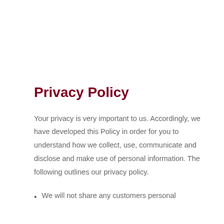Privacy Policy
Your privacy is very important to us. Accordingly, we have developed this Policy in order for you to understand how we collect, use, communicate and disclose and make use of personal information. The following outlines our privacy policy.
We will not share any customers personal